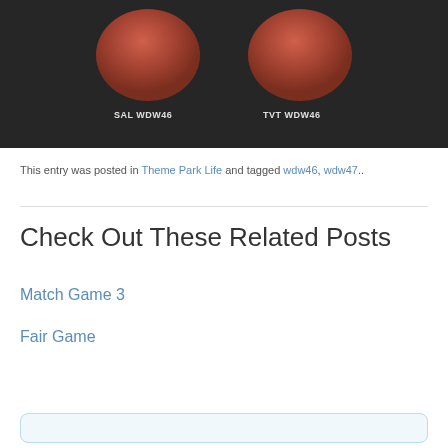[Figure (photo): Photo showing two dark-colored headphone cups or ear cups on a dark fabric background. Left cup is labeled 'SAL WDW46' and right cup is labeled 'TVT WDW46' in white text.]
This entry was posted in Theme Park Life and tagged wdw46, wdw47..
Check Out These Related Posts
Match Game 3
Fair Game